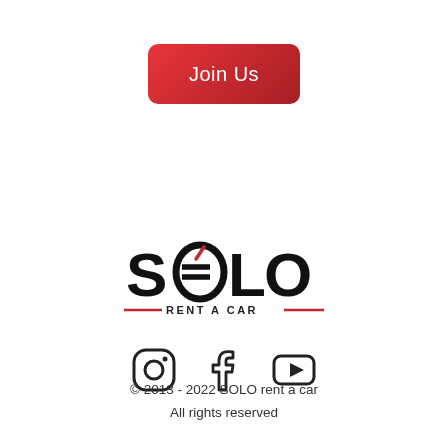Join Us
[Figure (logo): SOLO Rent a Car logo with euro sign stylized into the letter O, with red accent marks and 'RENT A CAR' subtitle flanked by red lines]
[Figure (infographic): Social media icons: Instagram, Facebook, YouTube]
© 2013 - 2022 SOLO rent a car
All rights reserved